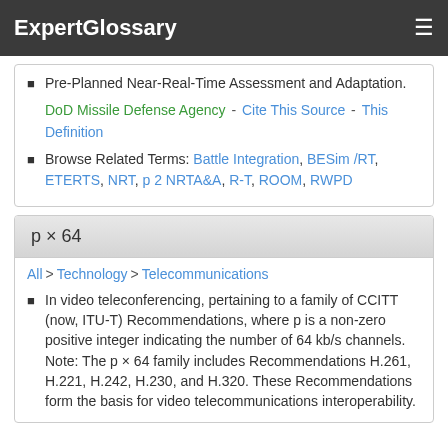ExpertGlossary
Pre-Planned Near-Real-Time Assessment and Adaptation.
DoD Missile Defense Agency - Cite This Source - This Definition
Browse Related Terms: Battle Integration, BESim /RT, ETERTS, NRT, p 2 NRTA&A, R-T, ROOM, RWPD
p × 64
All > Technology > Telecommunications
In video teleconferencing, pertaining to a family of CCITT (now, ITU-T) Recommendations, where p is a non-zero positive integer indicating the number of 64 kb/s channels. Note: The p × 64 family includes Recommendations H.261, H.221, H.242, H.230, and H.320. These Recommendations form the basis for video telecommunications interoperability.